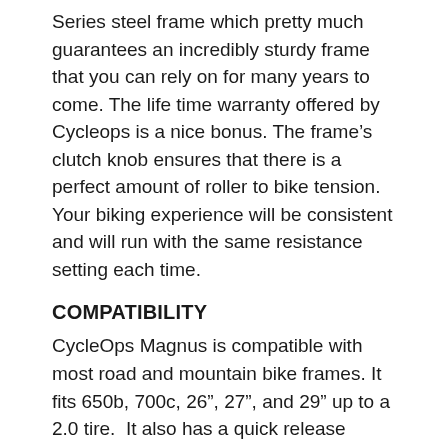Series steel frame which pretty much guarantees an incredibly sturdy frame that you can rely on for many years to come. The life time warranty offered by Cycleops is a nice bonus. The frame's clutch knob ensures that there is a perfect amount of roller to bike tension. Your biking experience will be consistent and will run with the same resistance setting each time.
COMPATIBILITY
CycleOps Magnus is compatible with most road and mountain bike frames. It fits 650b, 700c, 26", 27", and 29" up to a 2.0 tire.  It also has a quick release skewer and 3 setting for rear dropout spacing in 20mm, 130mm, and 135mm.  It will never require you to endlessly spin the tightening lever and try to find an exact spot